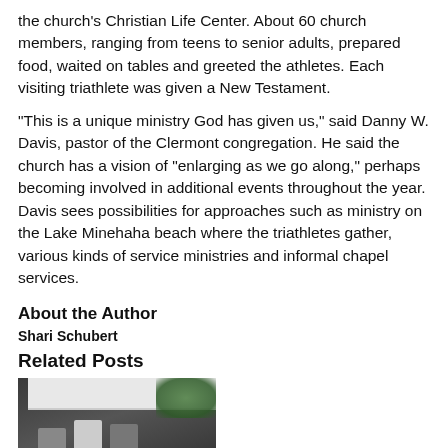the church's Christian Life Center. About 60 church members, ranging from teens to senior adults, prepared food, waited on tables and greeted the athletes. Each visiting triathlete was given a New Testament.
“This is a unique ministry God has given us,” said Danny W. Davis, pastor of the Clermont congregation. He said the church has a vision of “enlarging as we go along,” perhaps becoming involved in additional events throughout the year. Davis sees possibilities for approaches such as ministry on the Lake Minehaha beach where the triathletes gather, various kinds of service ministries and informal chapel services.
About the Author
Shari Schubert
Related Posts
[Figure (photo): Photo showing three men standing in front of a vehicle with 'LEROSE COMMUNITY CHURCH' text visible on the side.]